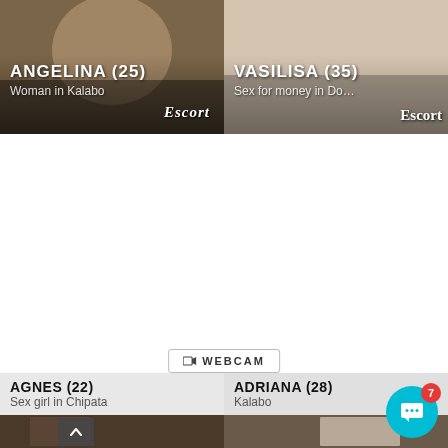[Figure (photo): Top-left card: photo of Angelina (25), Woman in Kalabo, with Escort badge]
[Figure (photo): Top-right card: photo of Vasilisa (35), Sex for money in Do..., with Escort badge]
[Figure (screenshot): Middle white area with Webcam button]
WEBCAM
AGNES (22)
Sex girl in Chipata
ADRIANA (28)
Kalabo
[Figure (photo): Bottom photo strip showing partial photos of Agnes and Adriana]
[Figure (illustration): Chat button with notification badge showing 7]